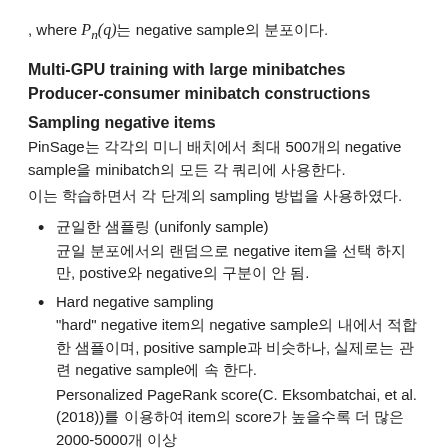, where P_n(q)는 negative sample의 분포이다.
Multi-GPU training with large minibatches
Producer-consumer minibatch constructions
Sampling negative items
PinSage는 각각의 미니 배치에서 최대 500개의 negative sample을 minibatch의 모든 각 쿼리에 사용한다.
이는 학습하면서 각 단계의 sampling 방법을 사용하였다.
균일한 샘플링 (unifonly sample)
균일 분포에서의 랜덤으로 negative item을 선택 하지만, postive와 negative의 구분이 안 됨.
Hard negative sampling
"hard" negative item의 negative sample의 내에서 적합한 샘플이며, positive sample과 비슷하나, 실제로는 관련 negative sample에 속 한다.
Personalized PageRank score(C. Eksombatchai, et al.(2018))를 이용하여 item의 score가 높을수록 더 많은 2000-5000개 이상